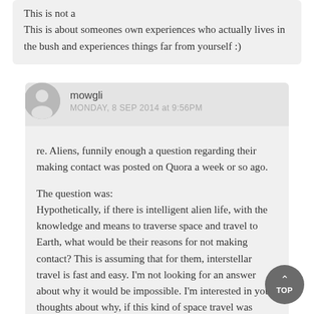This is not a who is right and who is wrong chump.
This is about someones own experiences who actually lives in the bush and experiences things far from yourself :)
mowgli
MONDAY, 8 SEP 2014 at 9:56PM
re. Aliens, funnily enough a question regarding their making contact was posted on Quora a week or so ago.

The question was:
Hypothetically, if there is intelligent alien life, with the knowledge and means to traverse space and travel to Earth, what would be their reasons for not making contact? This is assuming that for them, interstellar travel is fast and easy. I'm not looking for an answer about why it would be impossible. I'm interested in your thoughts about why, if this kind of space travel was possible, and extraterrestrials have already found us, they would choose not to contact us.